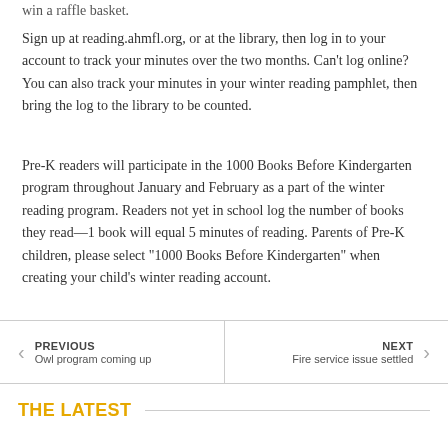win a raffle basket.
Sign up at reading.ahmfl.org, or at the library, then log in to your account to track your minutes over the two months. Can’t log online? You can also track your minutes in your winter reading pamphlet, then bring the log to the library to be counted.
Pre-K readers will participate in the 1000 Books Before Kindergarten program throughout January and February as a part of the winter reading program. Readers not yet in school log the number of books they read—1 book will equal 5 minutes of reading. Parents of Pre-K children, please select “1000 Books Before Kindergarten” when creating your child’s winter reading account.
PREVIOUS
Owl program coming up
NEXT
Fire service issue settled
THE LATEST